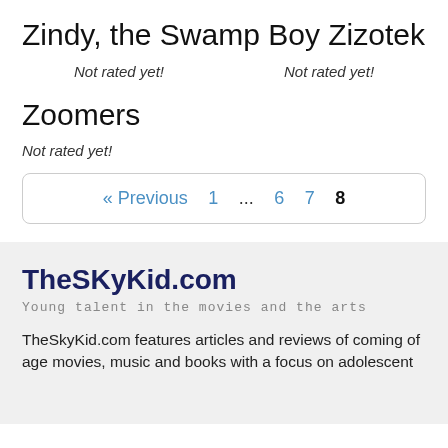Zindy, the Swamp Boy Zizotek
Not rated yet!    Not rated yet!
Zoomers
Not rated yet!
« Previous  1  ...  6  7  8
TheSKyKid.com
Young talent in the movies and the arts
TheSkyKid.com features articles and reviews of coming of age movies, music and books with a focus on adolescent